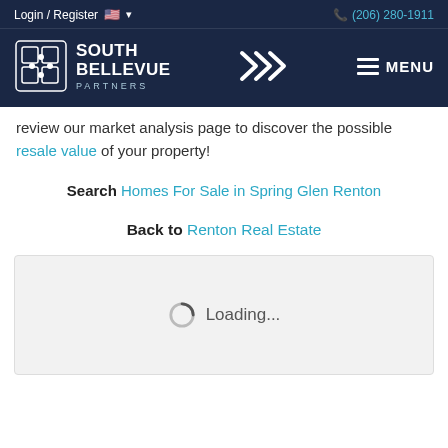Login / Register  🇺🇸 ▾   (206) 280-1911
[Figure (logo): South Bellevue Partners logo with diamond grid icon and text, center arrow logo, and hamburger menu with MENU text]
review our market analysis page to discover the possible resale value of your property!
Search Homes For Sale in Spring Glen Renton
Back to Renton Real Estate
[Figure (screenshot): Loading spinner with text 'Loading...' on a light gray background box]